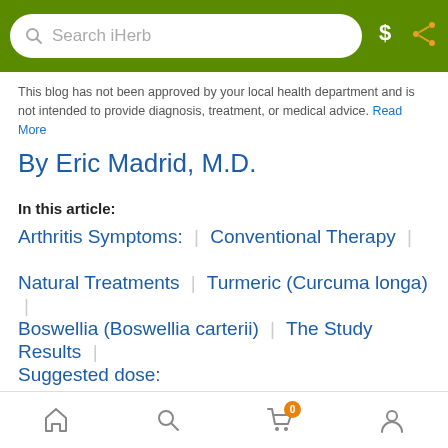[Figure (screenshot): iHerb app top navigation bar with search box, dollar icon, and share icon on green background]
This blog has not been approved by your local health department and is not intended to provide diagnosis, treatment, or medical advice. Read More
By Eric Madrid, M.D.
In this article:
Arthritis Symptoms: | Conventional Therapy | Natural Treatments | Turmeric (Curcuma longa) | Boswellia (Boswellia carterii) | The Study Results | Suggested dose:
[Figure (photo): Partial photo strip of what appears to be a plant/nature image at bottom of content area]
[Figure (screenshot): Mobile app bottom navigation bar with home, search, cart (badge 0), and user profile icons]